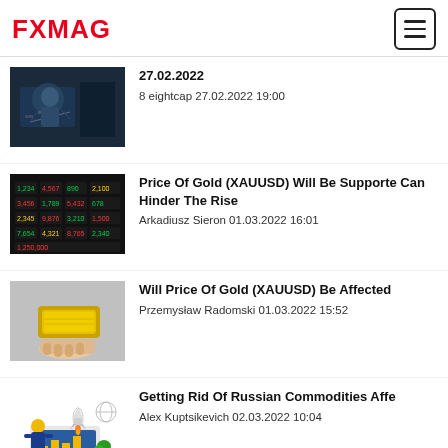FXMAG
27.02.2022
8 eightcap 27.02.2022 19:00
Price Of Gold (XAUUSD) Will Be Supported But USD Can Hinder The Rise
Arkadiusz Sieron 01.03.2022 16:01
Will Price Of Gold (XAUUSD) Be Affected
Przemysław Radomski 01.03.2022 15:52
Getting Rid Of Russian Commodities Affe
Alex Kuptsikevich 02.03.2022 10:04